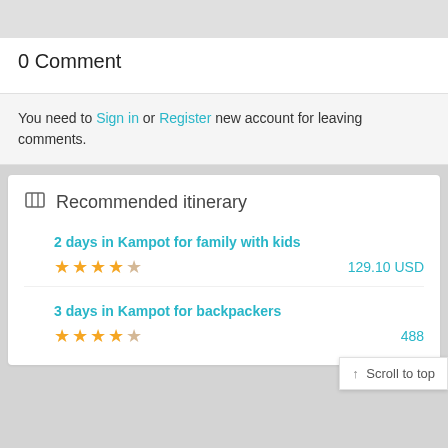0 Comment
You need to Sign in or Register new account for leaving comments.
Recommended itinerary
2 days in Kampot for family with kids ★★★★☆ 129.10 USD
3 days in Kampot for backpackers ★★★★☆ 488...
↑ Scroll to top